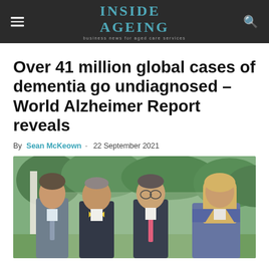INSIDE AGEING — business news for aged care services
Over 41 million global cases of dementia go undiagnosed – World Alzheimer Report reveals
By Sean McKeown - 22 September 2021
[Figure (photo): Group photo of four professionals (three men and one woman) standing outdoors near white columns with green trees in background]